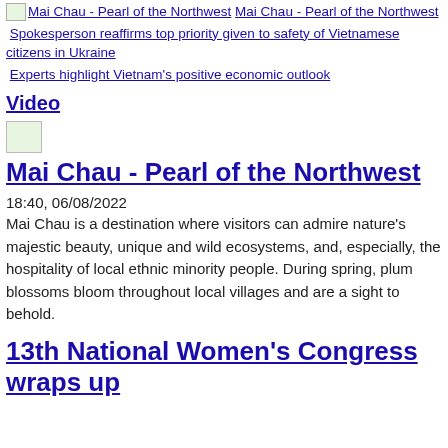Mai Chau - Pearl of the Northwest [image] Mai Chau - Pearl of the Northwest
Spokesperson reaffirms top priority given to safety of Vietnamese citizens in Ukraine
Experts highlight Vietnam's positive economic outlook
Video
[Figure (photo): Small broken image placeholder icon]
Mai Chau - Pearl of the Northwest
18:40, 06/08/2022
Mai Chau is a destination where visitors can admire nature's majestic beauty, unique and wild ecosystems, and, especially, the hospitality of local ethnic minority people. During spring, plum blossoms bloom throughout local villages and are a sight to behold.
13th National Women's Congress wraps up